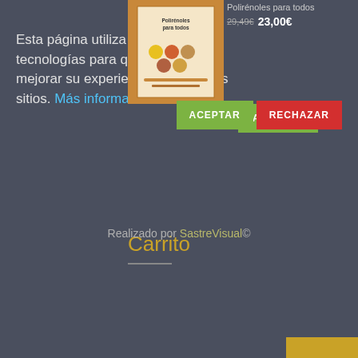[Figure (photo): Book cover image for 'Polirénoles para todos' showing a book with food/nutrition theme]
Polirénoles para todos
29,49 € 23,00€
Esta página utiliza cookies y otras tecnologías para que podamos mejorar su experiencia en nuestros sitios. Más información.
ACEPTAR
RECHAZAR
Carrito
Realizado por SastreVisual©